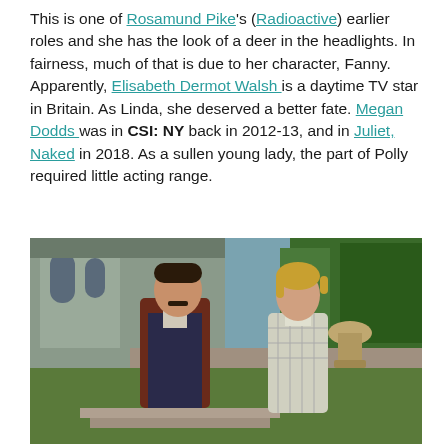This is one of Rosamund Pike's (Radioactive) earlier roles and she has the look of a deer in the headlights. In fairness, much of that is due to her character, Fanny. Apparently, Elisabeth Dermot Walsh is a daytime TV star in Britain. As Linda, she deserved a better fate. Megan Dodds was in CSI: NY back in 2012-13, and in Juliet, Naked in 2018. As a sullen young lady, the part of Polly required little acting range.
[Figure (photo): A man and a woman standing outside in front of a historic stone building and garden. The man wears a brown jacket over a dark suit and has a moustache. The woman has short blonde hair and wears a light plaid blouse. Trees and a stone urn are visible in the background.]